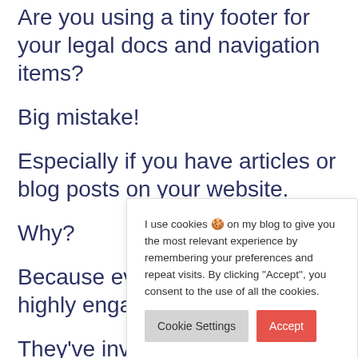Are you using a tiny footer for your legal docs and navigation items?
Big mistake!
Especially if you have articles or blog posts on your website.
Why?
Because every highly engage
They've invest consuming yo
I use cookies 🍪 on my blog to give you the most relevant experience by remembering your preferences and repeat visits. By clicking "Accept", you consent to the use of all the cookies.
Cookie Settings
Accept